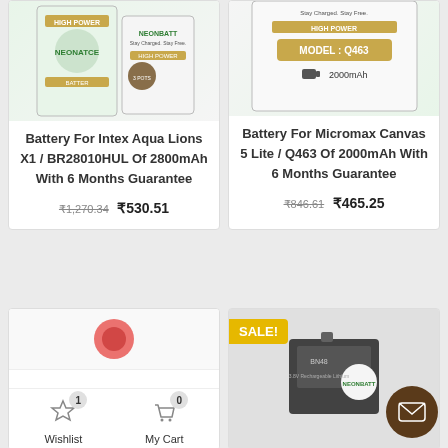[Figure (photo): Product image of Battery For Intex Aqua Lions X1 with Neonbatt branding]
Battery For Intex Aqua Lions X1 / BR28010HUL Of 2800mAh With 6 Months Guarantee
₹1,270.34 ₹530.51
[Figure (photo): Product image of Battery For Micromax Canvas 5 Lite / Q463 with MODEL: Q463 and 2000mAh label]
Battery For Micromax Canvas 5 Lite / Q463 Of 2000mAh With 6 Months Guarantee
₹846.61 ₹465.25
[Figure (photo): Bottom-left product card with partial image visible]
[Figure (photo): Bottom-right product card with SALE! badge and battery product image (BN48)]
Wishlist
My Cart